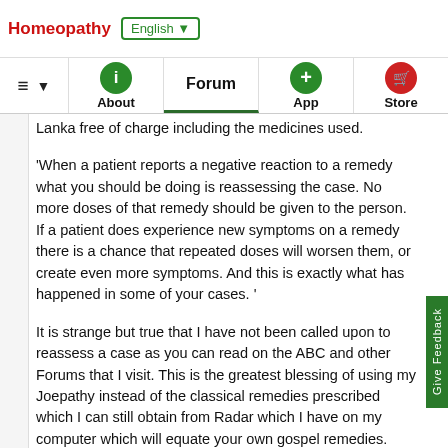Homeopathy | English ▼
≡ ▼ | About (i) | Forum | App (+) | Store
Lanka free of charge including the medicines used.
'When a patient reports a negative reaction to a remedy what you should be doing is reassessing the case. No more doses of that remedy should be given to the person. If a patient does experience new symptoms on a remedy there is a chance that repeated doses will worsen them, or create even more symptoms. And this is exactly what has happened in some of your cases. '
It is strange but true that I have not been called upon to reassess a case as you can read on the ABC and other Forums that I visit. This is the greatest blessing of using my Joepathy instead of the classical remedies prescribed which I can still obtain from Radar which I have on my computer which will equate your own gospel remedies.
'What is most terrible is how trusting these people are, and how you mercilessly take advantage of it. Shameful. Of course many of them do not realize you are not a homoeopath, that you do not practice